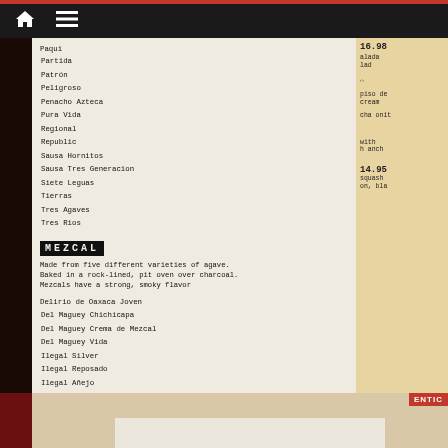Navigation bar with home and menu icons
| Name | Price 1 | Price 2 | Price 3 |
| --- | --- | --- | --- |
| Paqui | 11.00 | 12.50 | 13.50 |
| Partida | 10.50 | 13.00 | 14.00 |
| Patrón | 12.50 | 12.50 | 14.00 |
| Peligroso | 10.00 | 11.00 | 12.50 |
| Penacho Azteca | 9.50 | 10.50 | 12.00 |
| Pura Vida | 6.50 | 9.50 | 10.50 |
| Regional | 8.00 | 10.00 | 11.00 |
| Republic | 10.00 | 11.00 | 13.00 |
| Sausa Hornitos | 8.50 | 9.00 | 10.00 |
| Sausa Tres Generacion | 9.00 | 11.00 | 12.00 |
| Siete Leguas | 10.00 | 11.00 | 12.00 |
| Tierras | 8.00 | 9.00 | 10.00 |
| Tres Agaves | 9.00 | 10.00 | 11.00 |
| Tres Rios | 9.00 | 10.00 | — |
MEZCAL
Made from five different varieties of agave. Baked in a rock-lined, pit oven over charcoal. Mezcals have a strong, smoky flavor
| Name | Price |
| --- | --- |
| Delirio de Oaxaca Joven | 12.00 |
| Del Maguey Chichicapa | 18.00 |
| Del Maguey Crema de Mezcal | 9.00 |
| Del Maguey Vida | 8.00 |
| Ilegal Silver | 16.00 |
| Ilegal Reposado | 20.00 |
| Ilegal Añejo | 30.00 |
| Los Amantes Joven | 14.00 |
| Zignum Añejo | 14.00 |
| Zignum Reposado | 9.00 |
| Zignum Silver | 8.00 |